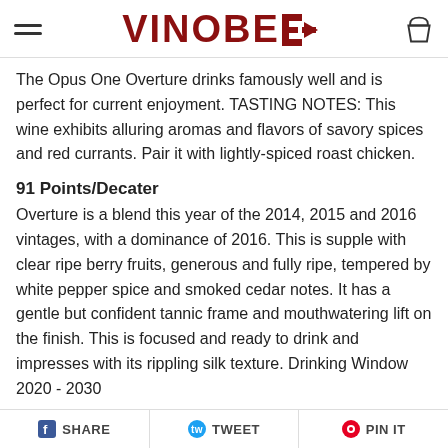VINOBEE (logo with arrow and cart icon)
The Opus One Overture drinks famously well and is perfect for current enjoyment. TASTING NOTES: This wine exhibits alluring aromas and flavors of savory spices and red currants. Pair it with lightly-spiced roast chicken.
91 Points/Decater
Overture is a blend this year of the 2014, 2015 and 2016 vintages, with a dominance of 2016. This is supple with clear ripe berry fruits, generous and fully ripe, tempered by white pepper spice and smoked cedar notes. It has a gentle but confident tannic frame and mouthwatering lift on the finish. This is focused and ready to drink and impresses with its rippling silk texture. Drinking Window 2020 - 2030
SHARE  TWEET  PIN IT